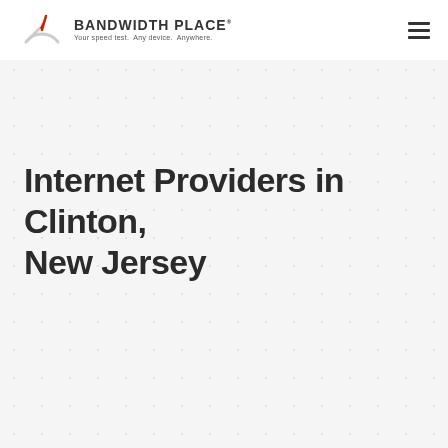BANDWIDTH PLACE — Your speed test. Any device. Anywhere.
Internet Providers in Clinton, New Jersey